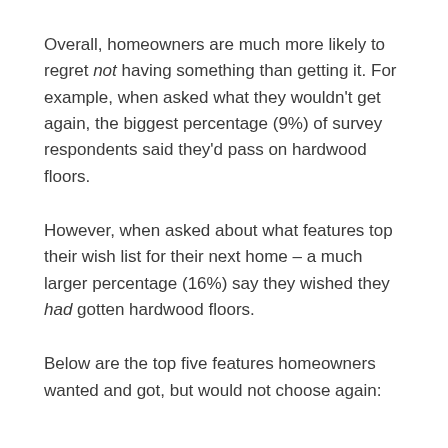Overall, homeowners are much more likely to regret not having something than getting it. For example, when asked what they wouldn't get again, the biggest percentage (9%) of survey respondents said they'd pass on hardwood floors.
However, when asked about what features top their wish list for their next home – a much larger percentage (16%) say they wished they had gotten hardwood floors.
Below are the top five features homeowners wanted and got, but would not choose again: